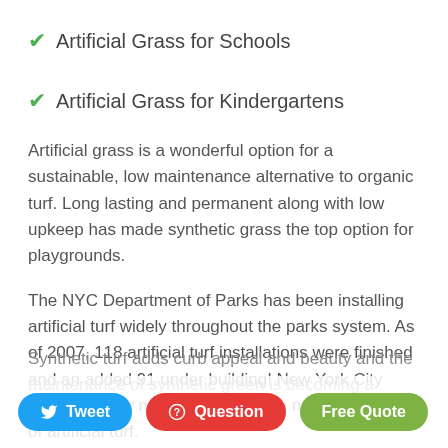✔ Artificial Grass for Schools
✔ Artificial Grass for Kindergartens
Artificial grass is a wonderful option for a sustainable, low maintenance alternative to organic turf. Long lasting and permanent along with low upkeep has made synthetic grass the top option for playgrounds.
The NYC Department of Parks has been installing artificial turf widely throughout the parks system. As of 2007, 118 artificial turf installations were finished and an added 91 under building! New York City leads all other municipalities in the nation in the use of artificial turf.
Synthetic turf adds curb appeal and beauty and the maintenance of synthetic green is becoming a
[Figure (other): Three buttons: Tweet (blue), Question (red), Free Quote (green)]